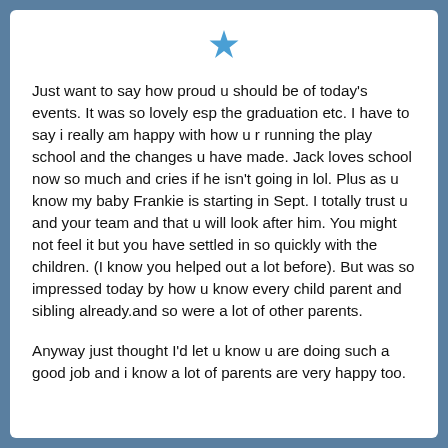[Figure (illustration): Blue star icon centered at top of card]
Just want to say how proud u should be of today's events. It was so lovely esp the graduation etc. I have to say i really am happy with how u r running the play school and the changes u have made. Jack loves school now so much and cries if he isn't going in lol. Plus as u know my baby Frankie is starting in Sept. I totally trust u and your team and that u will look after him. You might not feel it but you have settled in so quickly with the children. (I know you helped out a lot before). But was so impressed today by how u know every child parent and sibling already.and so were a lot of other parents.
Anyway just thought I'd let u know u are doing such a good job and i know a lot of parents are very happy too.